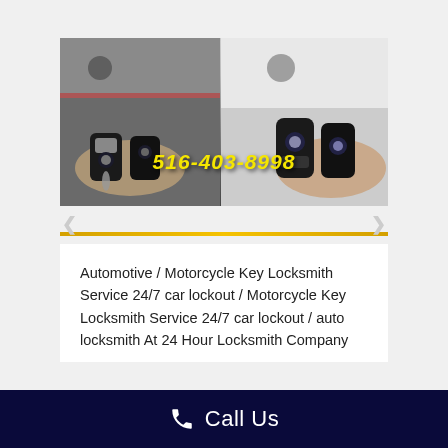[Figure (photo): Two side-by-side photos of hands holding BMW car key fobs; yellow text phone number '516-403-8998' overlaid on center; left and right navigation arrows visible at edges.]
Automotive / Motorcycle Key Locksmith Service 24/7 car lockout / Motorcycle Key Locksmith Service 24/7 car lockout / auto locksmith At 24 Hour Locksmith Company
Call Us